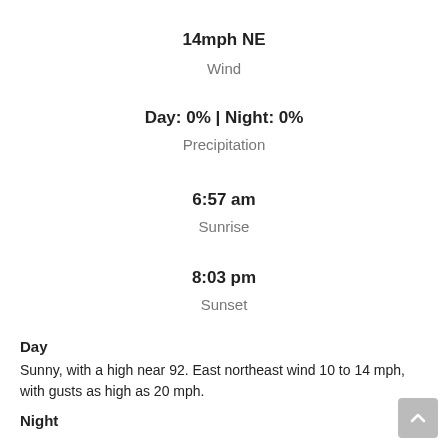14mph NE
Wind
Day: 0% | Night: 0%
Precipitation
6:57 am
Sunrise
8:03 pm
Sunset
Day
Sunny, with a high near 92. East northeast wind 10 to 14 mph, with gusts as high as 20 mph.
Night
Mostly clear, with a low around 62. East northeast wind 5 to 7 mph, becoming calm after midnight.